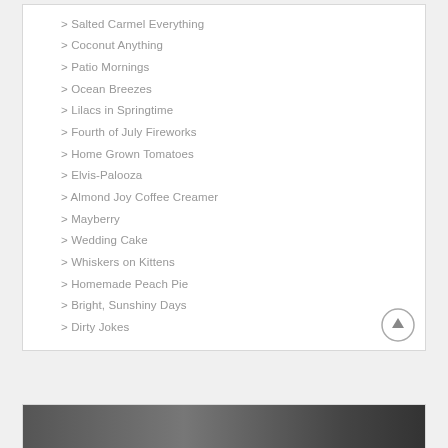> Salted Carmel Everything
> Coconut Anything
> Patio Mornings
> Ocean Breezes
> Lilacs in Springtime
> Fourth of July Fireworks
> Home Grown Tomatoes
> Elvis-Palooza
> Almond Joy Coffee Creamer
> Mayberry
> Wedding Cake
> Whiskers on Kittens
> Homemade Peach Pie
> Bright, Sunshiny Days
> Dirty Jokes
[Figure (photo): Partially visible photo at the bottom of the page]